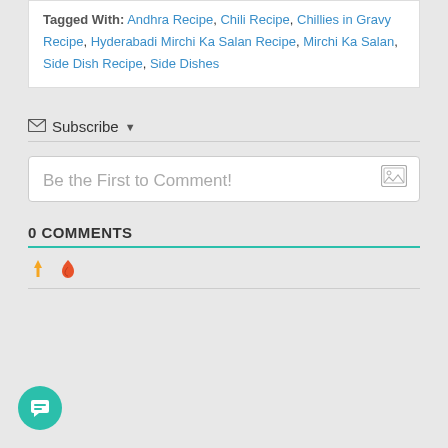Tagged With: Andhra Recipe, Chili Recipe, Chillies in Gravy Recipe, Hyderabadi Mirchi Ka Salan Recipe, Mirchi Ka Salan, Side Dish Recipe, Side Dishes
Subscribe
Be the First to Comment!
0 COMMENTS